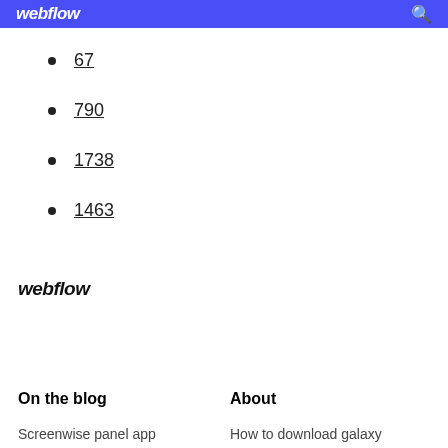webflow
67
790
1738
1463
webflow
On the blog
About
Screenwise panel app
How to download galaxy